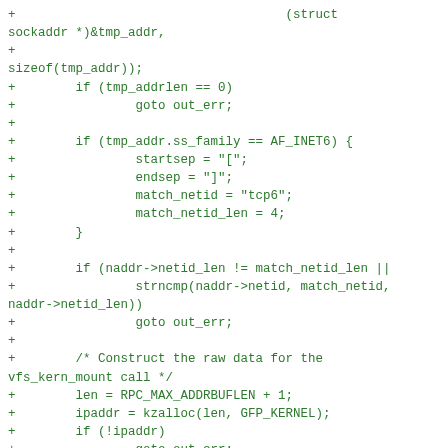code diff showing socket address and NFS mount construction in C